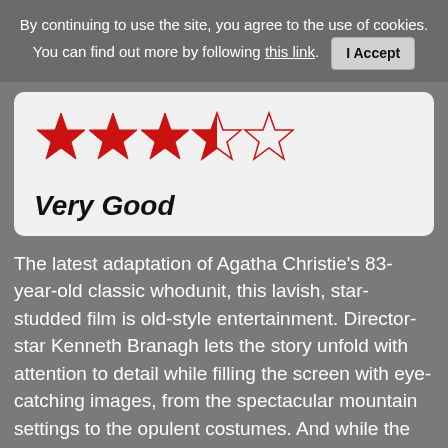By continuing to use the site, you agree to the use of cookies. You can find out more by following this link. I Accept
[Figure (other): Star rating: 3.5 out of 5 stars (three full red stars, one half red/outline star, one empty outline star)]
Very Good
The latest adaptation of Agatha Christie's 83-year-old classic whodunit, this lavish, star-studded film is old-style entertainment. Director-star Kenneth Branagh lets the story unfold with attention to detail while filling the screen with eye-catching images, from the spectacular mountain settings to the opulent costumes. And while the story is too familiar to stir up too much suspense, it's played with a strong sense of emotional resonance. And the moral question is provocative.